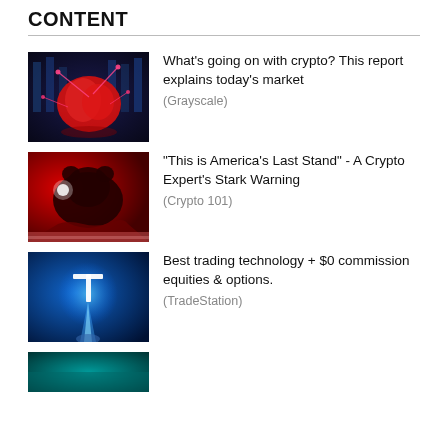CONTENT
[Figure (photo): Red glowing brain-like object with pink network lines on dark digital background]
What’s going on with crypto? This report explains today’s market
(Grayscale)
[Figure (photo): Red bear silhouette against red background with dramatic lighting]
"This is America's Last Stand" - A Crypto Expert's Stark Warning
(Crypto 101)
[Figure (photo): Blue glowing T logo with light beam on dark blue background]
Best trading technology + $0 commission equities & options.
(TradeStation)
[Figure (photo): Partial image at bottom of page, teal/green tones]